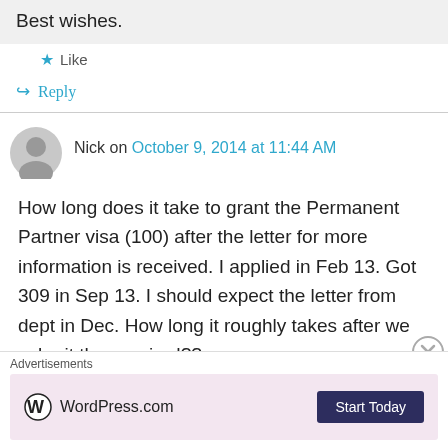Best wishes.
Like
Reply
Nick on October 9, 2014 at 11:44 AM
How long does it take to grant the Permanent Partner visa (100) after the letter for more information is received. I applied in Feb 13. Got 309 in Sep 13. I should expect the letter from dept in Dec. How long it roughly takes after we submit the required??
Advertisements
WordPress.com  Start Today